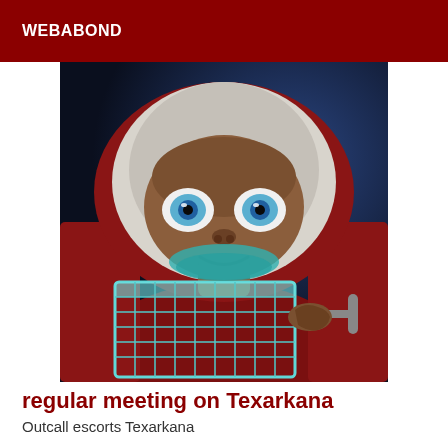WEBABOND
[Figure (photo): CGI rendering of E.T. the Extra-Terrestrial character wearing a white hood/robe sitting in a blue wire basket/cart, with large blue eyes looking at camera, dark blue background]
regular meeting on Texarkana
Outcall escorts Texarkana